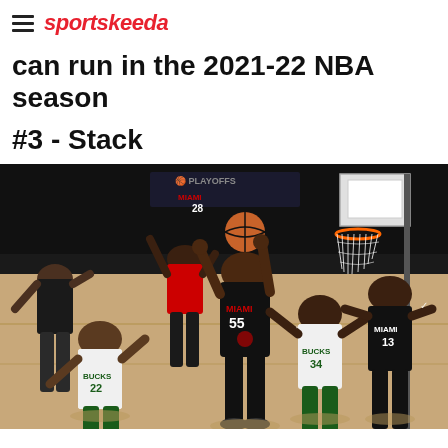sportskeeda
can run in the 2021-22 NBA season
#3 - Stack
[Figure (photo): NBA basketball game action shot showing Miami Heat player #55 in black jersey controlling the ball against Milwaukee Bucks players including #22 and #34, with Miami player #13 and other players visible. NBA Playoffs branding visible on scoreboard. Indoor arena setting.]